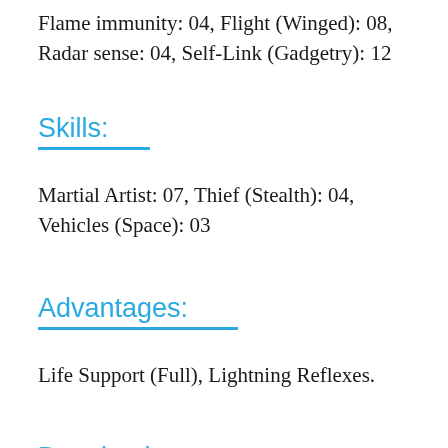Flame immunity: 04, Flight (Winged): 08, Radar sense: 04, Self-Link (Gadgetry): 12
Skills:
Martial Artist: 07, Thief (Stealth): 04, Vehicles (Space): 03
Advantages:
Life Support (Full), Lightning Reflexes.
Drawbacks: